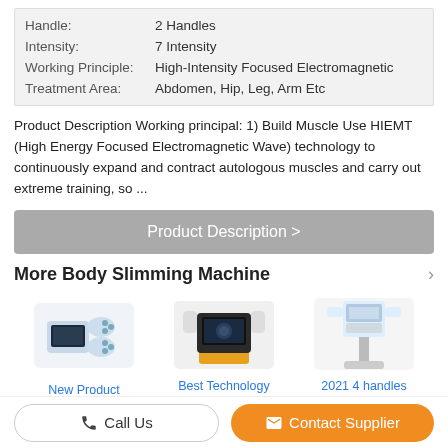| Handle: | 2 Handles |
| Intensity: | 7 Intensity |
| Working Principle: | High-Intensity Focused Electromagnetic |
| Treatment Area: | Abdomen, Hip, Leg, Arm Etc |
Product Description Working principal: 1) Build Muscle Use HIEMT (High Energy Focused Electromagnetic Wave) technology to continuously expand and contract autologous muscles and carry out extreme training, so ...
Product Description >
More Body Slimming Machine
[Figure (photo): New Product Salon Equipment device photo]
[Figure (photo): Best Technology for Body Shape device photo]
[Figure (photo): 2021 4 handles emssculpting device photo]
Change Language
Call Us
Contact Supplier